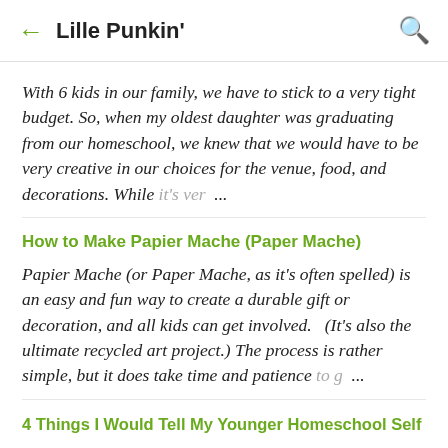← Lille Punkin'
With 6 kids in our family, we have to stick to a very tight budget. So, when my oldest daughter was graduating from our homeschool, we knew that we would have to be very creative in our choices for the venue, food, and decorations. While it's ver ...
How to Make Papier Mache (Paper Mache)
Papier Mache (or Paper Mache, as it's often spelled) is an easy and fun way to create a durable gift or decoration, and all kids can get involved.   (It's also the ultimate recycled art project.) The process is rather simple, but it does take time and patience to g ...
4 Things I Would Tell My Younger Homeschool Self